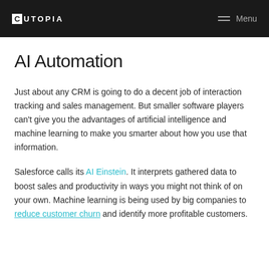CUTOPIA | Menu
AI Automation
Just about any CRM is going to do a decent job of interaction tracking and sales management. But smaller software players can't give you the advantages of artificial intelligence and machine learning to make you smarter about how you use that information.
Salesforce calls its AI Einstein. It interprets gathered data to boost sales and productivity in ways you might not think of on your own. Machine learning is being used by big companies to reduce customer churn and identify more profitable customers.